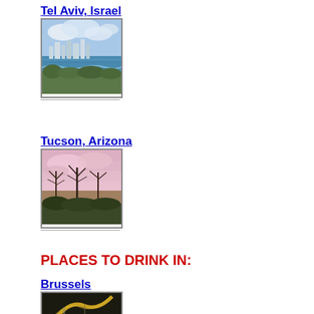Tel Aviv, Israel
[Figure (photo): Cityscape of Tel Aviv with beach, ocean waves, and city skyline under cloudy blue sky]
Tucson, Arizona
[Figure (photo): Desert landscape at sunset with pink and purple sky, silhouette of bare trees and desert brush]
PLACES TO DRINK IN:
Brussels
[Figure (photo): Partial view of Brussels scene, yellow curved structure visible]